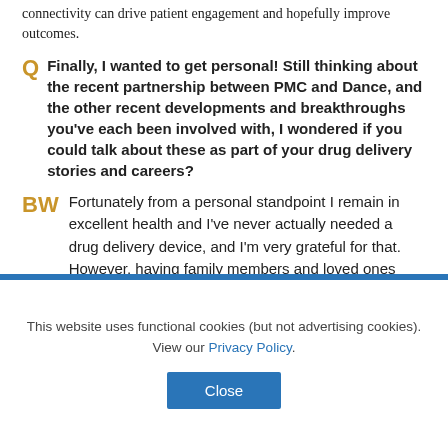connectivity can drive patient engagement and hopefully improve outcomes.
Q  Finally, I wanted to get personal! Still thinking about the recent partnership between PMC and Dance, and the other recent developments and breakthroughs you've each been involved with, I wondered if you could talk about these as part of your drug delivery stories and careers?
BW  Fortunately from a personal standpoint I remain in excellent health and I've never actually needed a drug delivery device, and I'm very grateful for that. However, having family members and loved ones who
This website uses functional cookies (but not advertising cookies). View our Privacy Policy.